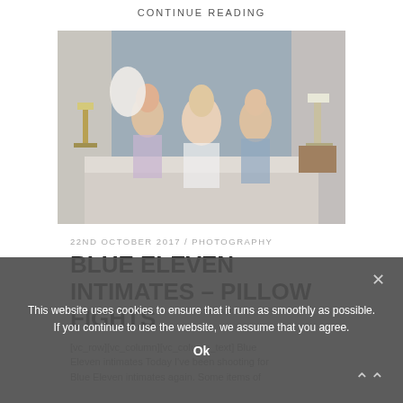CONTINUE READING
[Figure (photo): Three women in lingerie on a bed, pillow fight scene, bedroom setting with lamps and blue/grey walls]
22ND OCTOBER 2017 / PHOTOGRAPHY
BLUE ELEVEN INTIMATES – PILLOW FIGHTS
[vc_row][vc_column][vc_column_text] Blue Eleven intimates Today I've been shooting for Blue Eleven intimates again. Some items of
This website uses cookies to ensure that it runs as smoothly as possible. If you continue to use the website, we assume that you agree.
Ok